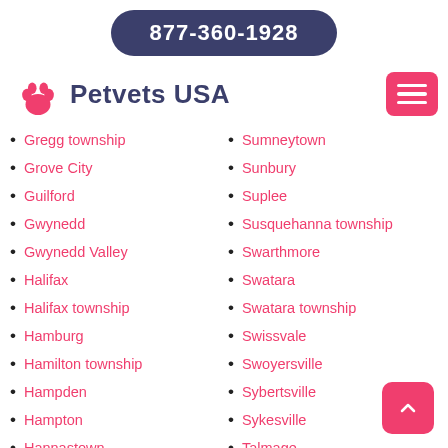877-360-1928
Petvets USA
Gregg township
Grove City
Guilford
Gwynedd
Gwynedd Valley
Halifax
Halifax township
Hamburg
Hamilton township
Hampden
Hampton
Hannastown
Hanover
Sumneytown
Sunbury
Suplee
Susquehanna township
Swarthmore
Swatara
Swatara township
Swissvale
Swoyersville
Sybertsville
Sykesville
Talmage
Tamaqua